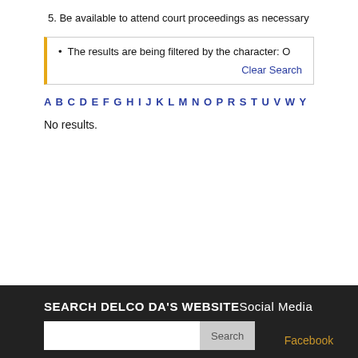5. Be available to attend court proceedings as necessary
The results are being filtered by the character: O
Clear Search
A B C D E F G H I J K L M N O P R S T U V W Y
No results.
SEARCH DELCO DA'S WEBSITESocial Media
Facebook
Instagram
Twitter